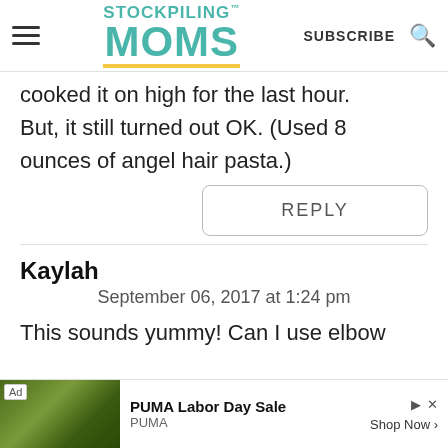Stockpiling Moms — SUBSCRIBE
cooked it on high for the last hour. But, it still turned out OK. (Used 8 ounces of angel hair pasta.)
REPLY
Kaylah
September 06, 2017 at 1:24 pm
This sounds yummy! Can I use elbow ma... he
[Figure (screenshot): PUMA Labor Day Weekend Sale advertisement banner with dark green background showing PUMA branding]